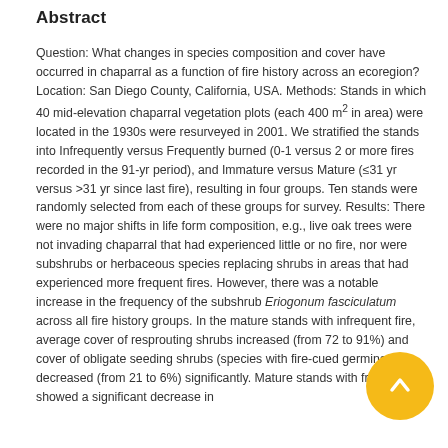Abstract
Question: What changes in species composition and cover have occurred in chaparral as a function of fire history across an ecoregion? Location: San Diego County, California, USA. Methods: Stands in which 40 mid-elevation chaparral vegetation plots (each 400 m² in area) were located in the 1930s were resurveyed in 2001. We stratified the stands into Infrequently versus Frequently burned (0-1 versus 2 or more fires recorded in the 91-yr period), and Immature versus Mature (≤31 yr versus >31 yr since last fire), resulting in four groups. Ten stands were randomly selected from each of these groups for survey. Results: There were no major shifts in life form composition, e.g., live oak trees were not invading chaparral that had experienced little or no fire, nor were subshrubs or herbaceous species replacing shrubs in areas that had experienced more frequent fires. However, there was a notable increase in the frequency of the subshrub Eriogonum fasciculatum across all fire history groups. In the mature stands with infrequent fire, average cover of resprouting shrubs increased (from 72 to 91%) and cover of obligate seeding shrubs (species with fire-cued germination) decreased (from 21 to 6%) significantly. Mature stands with frequent fire showed a significant decrease in